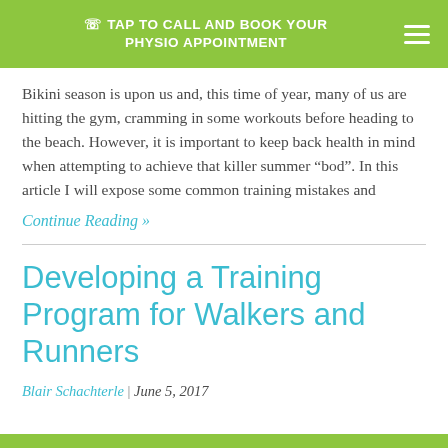TAP TO CALL AND BOOK YOUR PHYSIO APPOINTMENT
Bikini season is upon us and, this time of year, many of us are hitting the gym, cramming in some workouts before heading to the beach. However, it is important to keep back health in mind when attempting to achieve that killer summer “bod”. In this article I will expose some common training mistakes and
Continue Reading »
Developing a Training Program for Walkers and Runners
Blair Schachterle | June 5, 2017